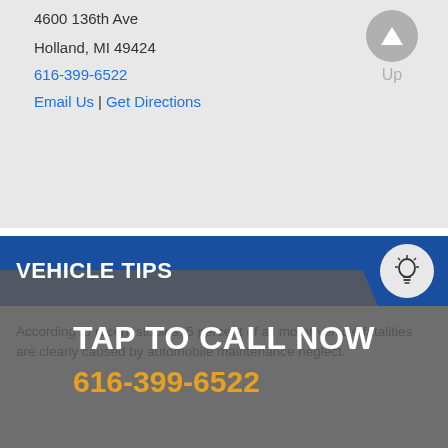4600 136th Ave
Holland, MI 49424
616-399-6522
Email Us | Get Directions
VEHICLE TIPS
According to recent studies, 5 percent of all motor vehicle fatalities are clearly caused by automobile maintenance neglect.
TAP TO CALL NOW
616-399-6522